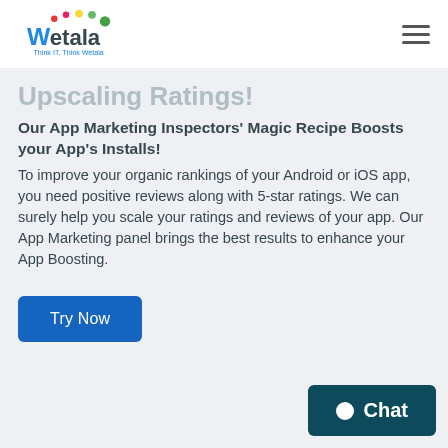[Figure (logo): Wetala logo with colored dots and tagline 'Think IT. Think Wetala']
Upscaling Ratings!
Our App Marketing Inspectors' Magic Recipe Boosts your App's Installs!
To improve your organic rankings of your Android or iOS app, you need positive reviews along with 5-star ratings. We can surely help you scale your ratings and reviews of your app. Our App Marketing panel brings the best results to enhance your App Boosting.